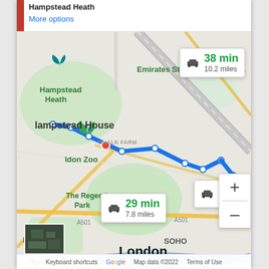[Figure (map): Google Maps screenshot showing driving routes from Hampstead area to a destination in London. Three route options are shown as blue lines. Route info boxes show: 38 min / 10.2 miles, 29 min / 7.8 miles, and 37 min / 9.7 miles. Map shows Hampstead Heath, Emirates Stadium, Chalk Farm, London Zoo, The Regent's Park, Soho, Hyde Park, Westminster, and Lambeth areas.]
More options
38 min
10.2 miles
29 min
7.8 miles
37
9.7 miles
London
Keyboard shortcuts   Map data ©2022   Terms of Use